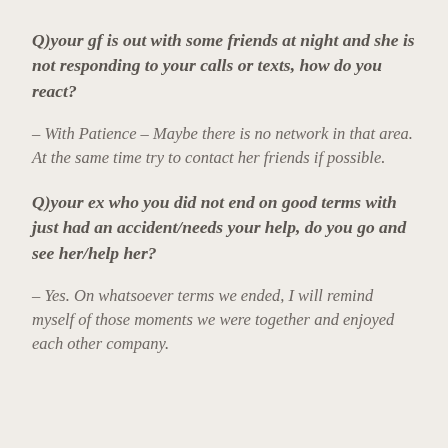Q)your gf is out with some friends at night and she is not responding to your calls or texts, how do you react?
– With Patience – Maybe there is no network in that area. At the same time try to contact her friends if possible.
Q)your ex who you did not end on good terms with just had an accident/needs your help, do you go and see her/help her?
– Yes. On whatsoever terms we ended, I will remind myself of those moments we were together and enjoyed each other company.